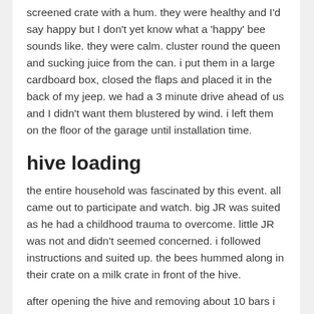screened crate with a hum. they were healthy and I'd say happy but I don't yet know what a 'happy' bee sounds like. they were calm. cluster round the queen and sucking juice from the can. i put them in a large cardboard box, closed the flaps and placed it in the back of my jeep. we had a 3 minute drive ahead of us and I didn't want them blustered by wind. i left them on the floor of the garage until installation time.
hive loading
the entire household was fascinated by this event. all came out to participate and watch. big JR was suited as he had a childhood trauma to overcome. little JR was not and didn't seemed concerned. i followed instructions and suited up. the bees hummed along in their crate on a milk crate in front of the hive.
after opening the hive and removing about 10 bars i placed the follower board at position 13. i planned on leaving 12 bars for the bees to work on. i left bars on the